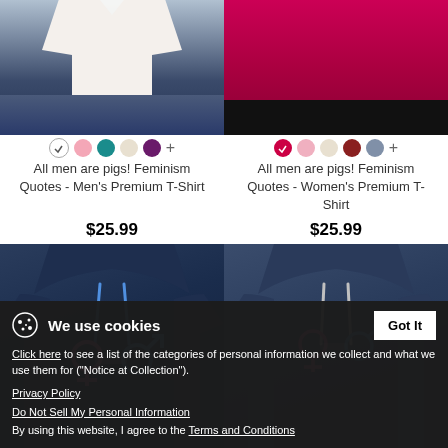[Figure (photo): Two product cards showing t-shirts: left is a men's white t-shirt, right is a women's pink/red t-shirt, each with color swatches below.]
All men are pigs! Feminism Quotes - Men's Premium T-Shirt
$25.99
All men are pigs! Feminism Quotes - Women's Premium T-Shirt
$25.99
[Figure (photo): Two product cards showing hoodies: left is a men's dark navy hoodie with gender symbols graphic, right is a women's dark navy hoodie with same graphic.]
We use cookies
Click here to see a list of the categories of personal information we collect and what we use them for ("Notice at Collection").
Privacy Policy
Do Not Sell My Personal Information
By using this website, I agree to the Terms and Conditions
All men are pigs! Feminism
All men are pigs! Feminism